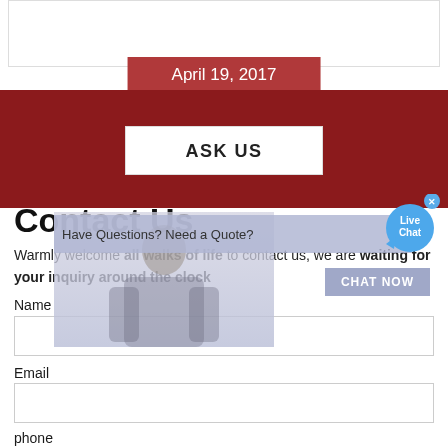[Figure (screenshot): Top banner with date 'April 19, 2017' on a dark red bar]
[Figure (infographic): Red background section with 'ASK US' white box]
Contact Us
Warmly welcome all walks of life to contact us, we are waiting for your inquiry around the clock
Name
Email
phone
[Figure (screenshot): Live Chat bubble overlay in top right corner with close button]
[Figure (screenshot): Popup bar overlay: 'Have Questions? Need a Quote?' with CHAT NOW button and person image]